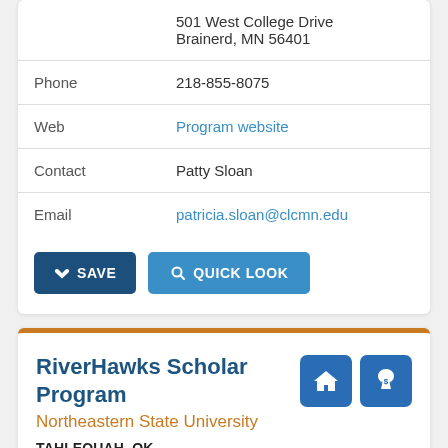| Field | Value |
| --- | --- |
|  | 501 West College Drive
Brainerd, MN 56401 |
| Phone | 218-855-8075 |
| Web | Program website |
| Contact | Patty Sloan |
| Email | patricia.sloan@clcmn.edu |
SAVE   QUICK LOOK
RiverHawks Scholar Program
Northeastern State University
TAHLEQUAH, OK